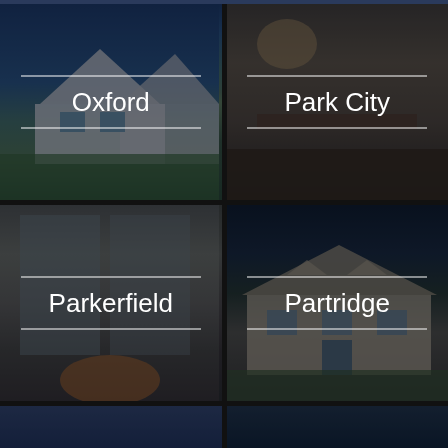[Figure (photo): House exterior with white angular roofline, blue sky, green lawn - Oxford floor plan]
[Figure (photo): Interior dining area with lamp, wooden table, dark hardwood floors - Park City floor plan]
[Figure (photo): Interior window view with warm fireplace glow - Parkerfield floor plan]
[Figure (photo): House exterior with beige siding, gable roofline, dormers, green lawn - Partridge floor plan]
[Figure (photo): Partial view of another floor plan card, bottom left]
[Figure (photo): Partial view of another floor plan card, bottom right]